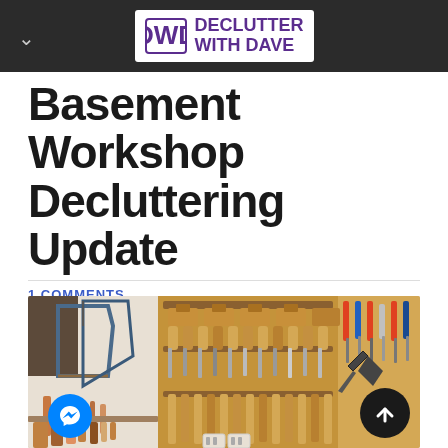Declutter With Dave
Basement Workshop Decluttering Update
1 COMMENTS
[Figure (photo): A workshop wall with many hand tools neatly organized on wooden racks and holders — saws, hand planes, chisels, screwdrivers, pliers, and other woodworking tools.]